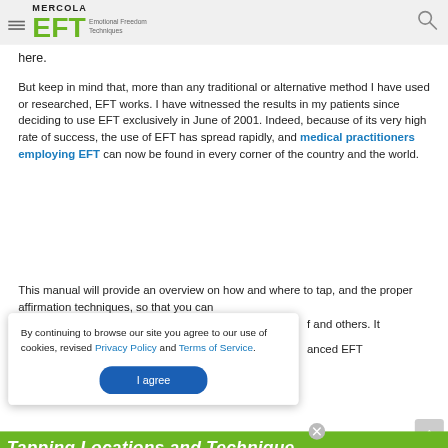MERCOLA EFT Emotional Freedom Techniques
here.
But keep in mind that, more than any traditional or alternative method I have used or researched, EFT works. I have witnessed the results in my patients since deciding to use EFT exclusively in June of 2001. Indeed, because of its very high rate of success, the use of EFT has spread rapidly, and medical practitioners employing EFT can now be found in every corner of the country and the world.
This manual will provide an overview on how and where to tap, and the proper affirmation techniques, so that you can [help yourself] and others. It [also covers adv]anced EFT
By continuing to browse our site you agree to our use of cookies, revised Privacy Policy and Terms of Service.
I agree
Tapping Locations and Technique